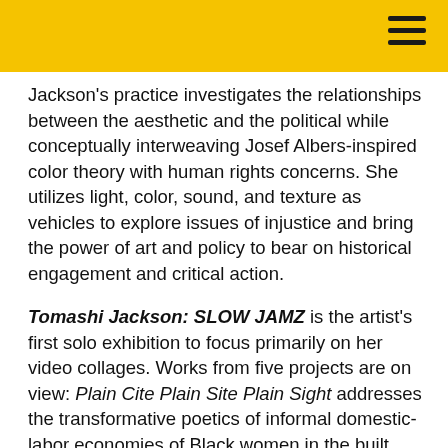Jackson's practice investigates the relationships between the aesthetic and the political while conceptually interweaving Josef Albers-inspired color theory with human rights concerns. She utilizes light, color, sound, and texture as vehicles to explore issues of injustice and bring the power of art and policy to bear on historical engagement and critical action.
Tomashi Jackson: SLOW JAMZ is the artist's first solo exhibition to focus primarily on her video collages. Works from five projects are on view: Plain Cite Plain Site Plain Sight addresses the transformative poetics of informal domestic-labor economies of Black women in the built environment. The Subliminal is Now examines histories and contemporary implications of school-desegregation litigation and legislation in the United States. Interstate Love Song investigates histories and contemporary experiences of transportation-centered voting referenda and the maintenance of de facto segregation in and around Atlanta. Forever My Lady features the artist's alter ego Tommy Tonight and friends, exploring generational links and contradictions between participatory democracy and love with a focus